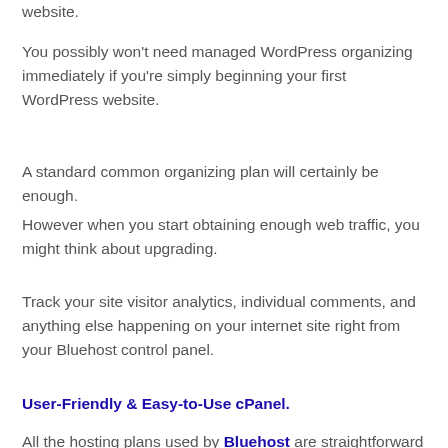website.
You possibly won't need managed WordPress organizing immediately if you're simply beginning your first WordPress website.
A standard common organizing plan will certainly be enough.
However when you start obtaining enough web traffic, you might think about upgrading.
Track your site visitor analytics, individual comments, and anything else happening on your internet site right from your Bluehost control panel.
User-Friendly & Easy-to-Use cPanel.
All the hosting plans used by Bluehost are straightforward to utilize and set up.